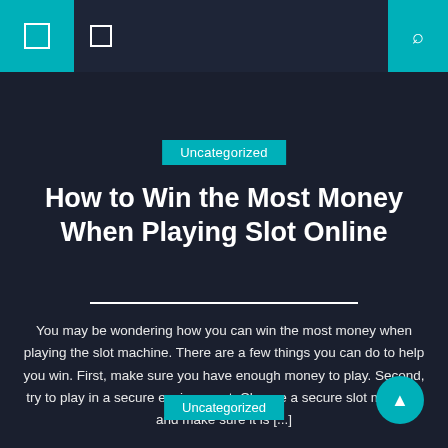Navigation bar with icons and search
Uncategorized
How to Win the Most Money When Playing Slot Online
You may be wondering how you can win the most money when playing the slot machine. There are a few things you can do to help you win. First, make sure you have enough money to play. Second, try to play in a secure environment. Choose a secure slot machine and make sure it is [...]
August 22, 2022  admin  Comment(0)
Uncategorized